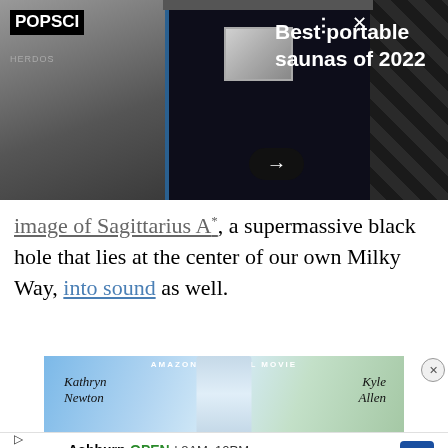[Figure (screenshot): Pop Sci advertisement banner showing portable saunas of 2022, with product images on dark background]
image of Sagittarius A*, a supermassive black hole that lies at the center of our own Milky Way, into sound as well.
[Figure (screenshot): Amazon Original Movie advertisement banner showing Kathryn Newton and Kyle Allen]
[Figure (screenshot): Walgreens advertisement showing Ashburn location, OPEN 8AM-10PM, 20321 Susan Leslie Dr, Ashburn]